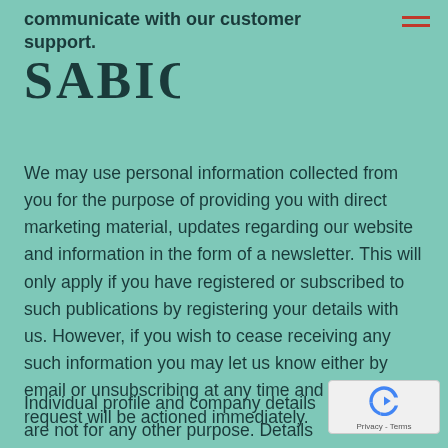communicate with our customer support.
[Figure (logo): SABIO logo in dark teal serif font]
We may use personal information collected from you for the purpose of providing you with direct marketing material, updates regarding our website and information in the form of a newsletter. This will only apply if you have registered or subscribed to such publications by registering your details with us. However, if you wish to cease receiving any such information you may let us know either by email or unsubscribing at any time and your request will be actioned immediately.
Individual profile and company details are not for any other purpose. Details are only supplied to
[Figure (other): reCAPTCHA Privacy - Terms badge]